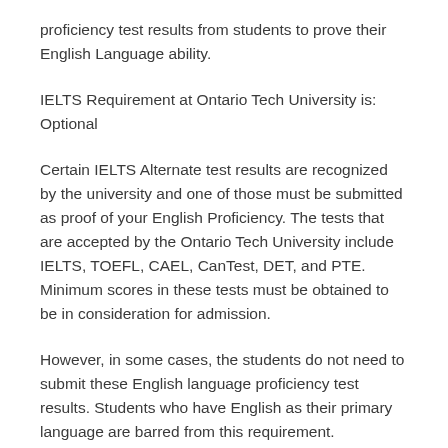proficiency test results from students to prove their English Language ability.
IELTS Requirement at Ontario Tech University is: Optional
Certain IELTS Alternate test results are recognized by the university and one of those must be submitted as proof of your English Proficiency. The tests that are accepted by the Ontario Tech University include IELTS, TOEFL, CAEL, CanTest, DET, and PTE. Minimum scores in these tests must be obtained to be in consideration for admission.
However, in some cases, the students do not need to submit these English language proficiency test results. Students who have English as their primary language are barred from this requirement. Additionally, students who've completed three years of formal studies at an institution where the language of instruction is English in a country that has